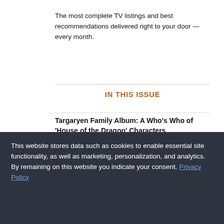The most complete TV listings and best recommendations delivered right to your door — every month.
IN THIS ISSUE
Targaryen Family Album: A Who's Who of 'House of the Dragon' Characters
Wrexham AFC Exec Humphrey Ker Gives an Insider's Look at FX's 'Welcome to Wrexham'
Which Dish Will Be Named 'The Great American Recipe'?
This website stores data such as cookies to enable essential site functionality, as well as marketing, personalization, and analytics. By remaining on this website you indicate your consent. Privacy Policy